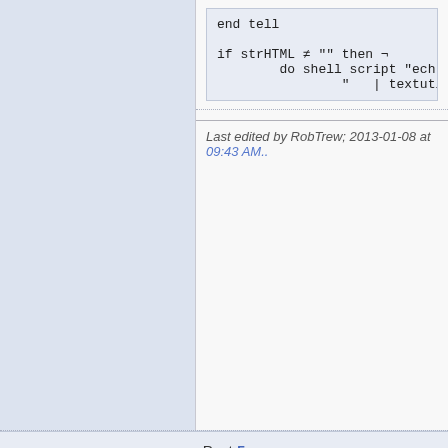end tell

if strHTML ≠ "" then ¬
        do shell script "ech
                "   | textuti
Last edited by RobTrew; 2013-01-08 at 09:43 AM..
Post 5
andeye
Member
2013-01-07, 09:25 PM
Quote:
Originally Posted by Yury
No it still works, I just automate a
Yes, I've tried again, and dragging the ema not others - I'm still trying to work out what wrist.
As a matter of interest, how do you activa quicker than dragging, so do you save the the application?